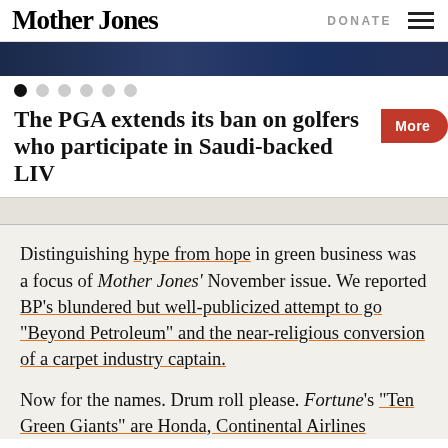Mother Jones  DONATE
[Figure (photo): Top portion of a hero image showing a person, partially visible as a strip at the top of the carousel]
The PGA extends its ban on golfers who participate in Saudi-backed LIV
More
Distinguishing hype from hope in green business was a focus of Mother Jones' November issue. We reported BP's blundered but well-publicized attempt to go “Beyond Petroleum” and the near-religious conversion of a carpet industry captain.
Now for the names. Drum roll please. Fortune’s “Ten Green Giants” are Honda, Continental Airlines